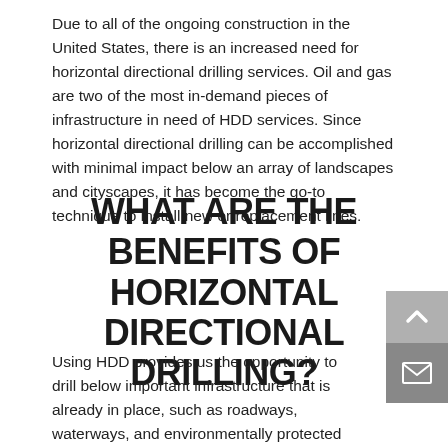Due to all of the ongoing construction in the United States, there is an increased need for horizontal directional drilling services. Oil and gas are two of the most in-demand pieces of infrastructure in need of HDD services. Since horizontal directional drilling can be accomplished with minimal impact below an array of landscapes and cityscapes, it has become the go-to technique to install new or replacement lines.
WHAT ARE THE BENEFITS OF HORIZONTAL DIRECTIONAL DRILLING?
Using HDD provides us the opportunity to drill below important infrastructure that is already in place, such as roadways, waterways, and environmentally protected areas, which leads to limited traffic disruption and minimal damage to the area's landscape. With conventional trenching methods, this is not always